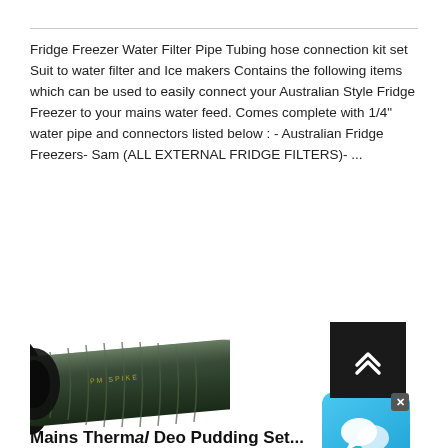Fridge Freezer Water Filter Pipe Tubing hose connection kit set Suit to water filter and Ice makers Contains the following items which can be used to easily connect your Australian Style Fridge Freezer to your mains water feed. Comes complete with 1/4" water pipe and connectors listed below : - Australian Fridge Freezers- Sam (ALL EXTERNAL FRIDGE FILTERS)- ...
[Figure (photo): A dark green corrugated rubber/braided water hose pipe shown diagonally, with yellow text branding visible along the side.]
[Figure (other): A live chat widget icon showing two speech bubbles on a blue gradient background with an X close button in the upper right corner.]
[Figure (other): A black square back-to-top button with a double chevron (>>) arrow pointing upward in white.]
Mains Thermal Deo Pudding Set...